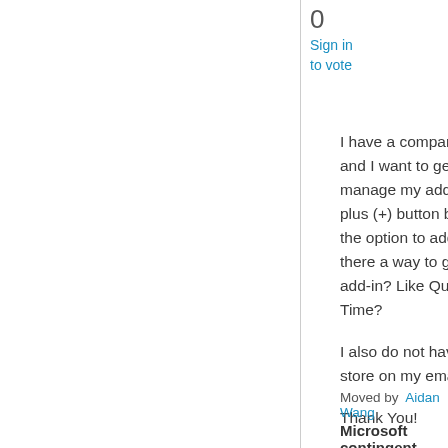0
Sign in
to vote
I have a company 2016 outlook account and I want to get add-ins. When I go to manage my add-ins, I can click on the plus (+) button but then it only gives me the option to add with a URL or file. Is there a way to get the URL or file of an add-in? Like Quick Polls, Trello, or Find Time?

I also do not have access to the Microsoft store on my email. Any ideas?

Thank You!
Moved by  Aidan Wang
Microsoft contingent staff